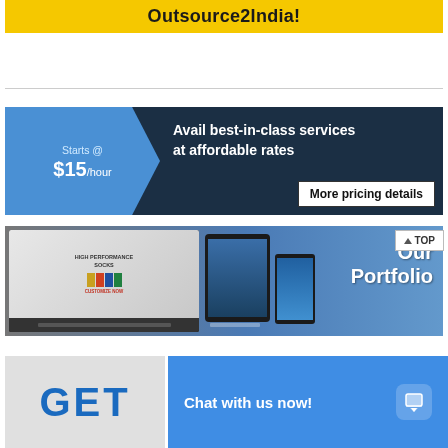[Figure (infographic): Yellow banner with text 'Outsource2India!']
[Figure (infographic): Pricing banner: Starts @ $15/hour, Avail best-in-class services at affordable rates, More pricing details button]
[Figure (infographic): Portfolio banner showing ecommerce website on monitor with devices, text 'Our Portfolio', TOP button]
[Figure (infographic): Bottom section with GET text and blue chat bar 'Chat with us now!']